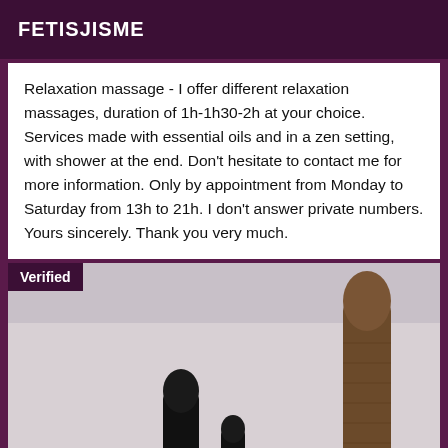FETISJISME
Relaxation massage - I offer different relaxation massages, duration of 1h-1h30-2h at your choice. Services made with essential oils and in a zen setting, with shower at the end. Don't hesitate to contact me for more information. Only by appointment from Monday to Saturday from 13h to 21h. I don't answer private numbers. Yours sincerely. Thank you very much.
[Figure (photo): Photo showing adult toy items on a light surface, with a 'Verified' badge overlay in the top-left corner]